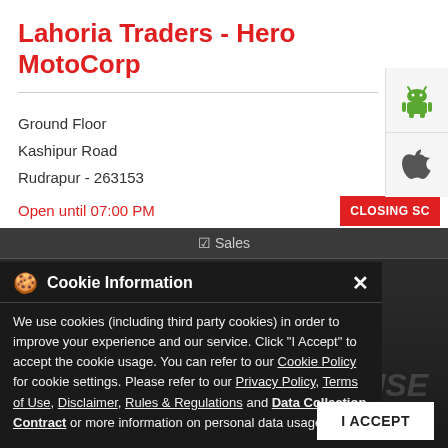Lahoria Traders - Hero MotoCorp
Ground Floor
Kashipur Road
Rudrapur - 263153
Open until 07:00 PM
CLOSING SC
Sales
Cookie Information
We use cookies (including third party cookies) in order to improve your experience and our service. Click "I Accept" to accept the cookie usage. You can refer to our Cookie Policy for cookie settings. Please refer to our Privacy Policy, Terms of Use, Disclaimer, Rules & Regulations and Data Collection Contract or more information on personal data usage.
I ACCEPT